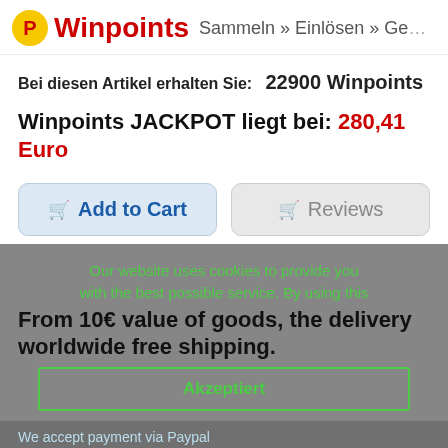P Winpoints Sammeln » Einlösen » Ge...
Bei diesen Artikel erhalten Sie:  22900 Winpoints
Winpoints JACKPOT liegt bei: 280,41 Euro
Add to Cart   Reviews
Our website uses cookies to provide you with the best possible service. By using this
From 10€ value of goods, the delivery worldwide free shipping.
Akzeptiert
We accept payment via Paypal